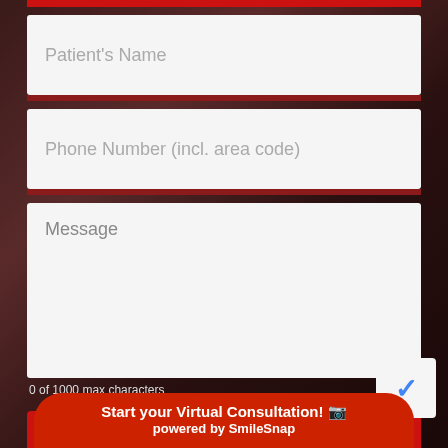[Figure (screenshot): Form input field placeholder: Patient's Name]
[Figure (screenshot): Form input field placeholder: Phone Number (incl. area code)]
[Figure (screenshot): Form textarea placeholder: Message]
0 of 1000 max characters
[Figure (screenshot): Red submit button area with partially visible 'SEND' text]
Start your Virtual Consultation! powered by SmileSnap